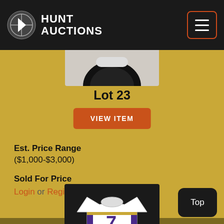HUNT AUCTIONS
Lot 23
VIEW ITEM
Est. Price Range ($1,000-$3,000)
Sold For Price
Login or Register
[Figure (photo): Auction item photo at top of card 1 (partial view of sports helmet/equipment)]
[Figure (photo): Auction item photo at top of card 2 (football jersey, number 7, white with purple and gold, Minnesota Vikings)]